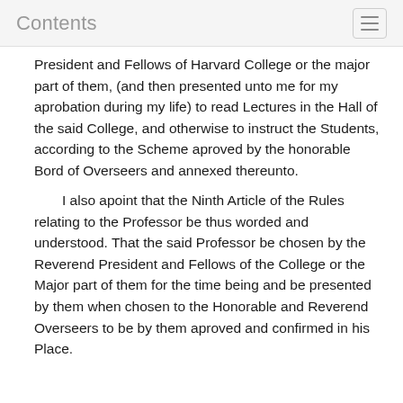Contents
President and Fellows of Harvard College or the major part of them, (and then presented unto me for my aprobation during my life) to read Lectures in the Hall of the said College, and otherwise to instruct the Students, according to the Scheme aproved by the honorable Bord of Overseers and annexed thereunto.
I also apoint that the Ninth Article of the Rules relating to the Professor be thus worded and understood. That the said Professor be chosen by the Reverend President and Fellows of the College or the Major part of them for the time being and be presented by them when chosen to the Honorable and Reverend Overseers to be by them aproved and confirmed in his Place.